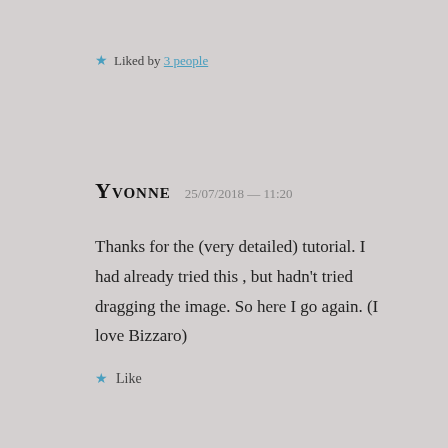★ Liked by 3 people
YVONNE  25/07/2018 — 11:20
Thanks for the (very detailed) tutorial. I had already tried this , but hadn't tried dragging the image. So here I go again. (I love Bizzaro)
★ Like